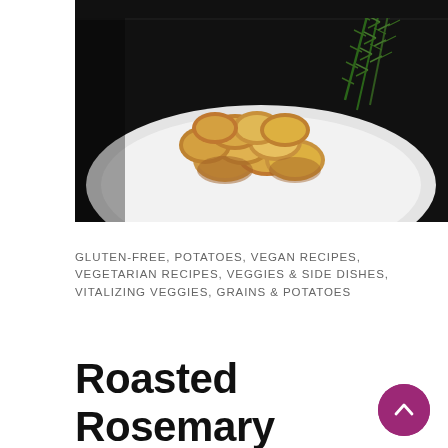[Figure (photo): Photo of roasted rosemary potatoes — golden-brown sliced potato rounds arranged on a white plate, garnished with fresh rosemary sprigs, on a dark background.]
GLUTEN-FREE, POTATOES, VEGAN RECIPES, VEGETARIAN RECIPES, VEGGIES & SIDE DISHES, VITALIZING VEGGIES, GRAINS & POTATOES
Roasted Rosemary Potatoes